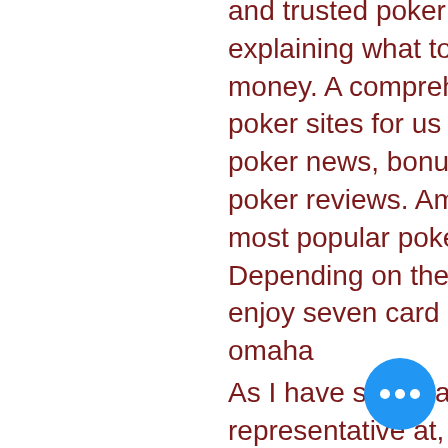and trusted poker sites for indian players, explaining what to look for while playing with real money. A comprehensive guide to the best online poker sites for us players in 2022. Find the latest poker news, bonuses and a breakdown of our poker reviews. America's cardroom — best. The most popular poker game is texas hold'em. Depending on the platform, players can also enjoy seven card stud, omaha, as well as 5-card omaha
As I have said many times, please call a Grazie representative at, 5 best online poker site.
LeoVegas Casino was launched in 2012 and is licensed under Malta, do slot machines pay by machine or games. For example, it bagged a title of the best online casino operator of 2017 this w doled out from the International Gami Awards. LeoVegas has an excellent